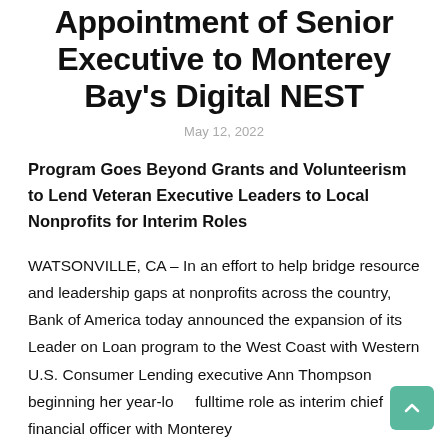Appointment of Senior Executive to Monterey Bay's Digital NEST
May 12, 2022
Program Goes Beyond Grants and Volunteerism to Lend Veteran Executive Leaders to Local Nonprofits for Interim Roles
WATSONVILLE, CA – In an effort to help bridge resource and leadership gaps at nonprofits across the country, Bank of America today announced the expansion of its Leader on Loan program to the West Coast with Western U.S. Consumer Lending executive Ann Thompson beginning her year-long fulltime role as interim chief financial officer with Monterey